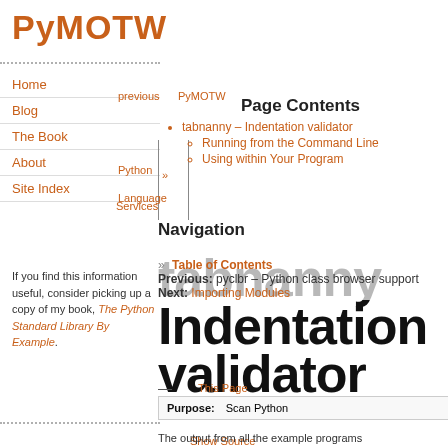PyMOTW
Home
Blog
The Book
About
Site Index
If you find this information useful, consider picking up a copy of my book, The Python Standard Library By Example.
Page Contents
tabnanny – Indentation validator
Running from the Command Line
Using within Your Program
Navigation
Table of Contents
Previous: pyclbr – Python class browser support
Next: Importing Modules
tabnanny – Indentation validator
| Purpose: |  |
| --- | --- |
| Purpose: | Scan Python source |
The output from all the example programs from PyMOTW has been generated with CPython...